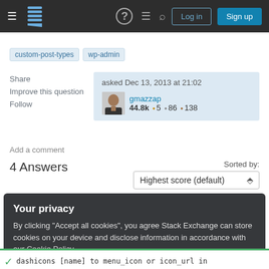Stack Exchange navigation bar with hamburger menu, logo, help, chat, search icons, Log in and Sign up buttons
custom-post-types
wp-admin
Share
Improve this question
Follow
asked Dec 13, 2013 at 21:02
gmazzap
44.8k • 5 • 86 • 138
Add a comment
4 Answers
Sorted by: Highest score (default)
Your privacy
By clicking "Accept all cookies", you agree Stack Exchange can store cookies on your device and disclose information in accordance with our Cookie Policy.
Accept all cookies   Customize settings
dashicons [name] to menu_icon or icon_url in